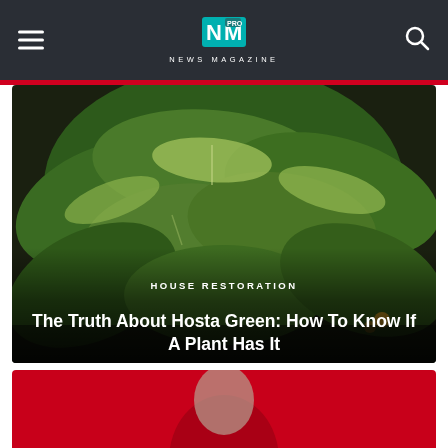NEWS MAGAZINE
[Figure (photo): Close-up photograph of large green hosta plant leaves with light green and white variegation, filling the hero card area]
HOUSE RESTORATION
The Truth About Hosta Green: How To Know If A Plant Has It
[Figure (photo): Partially visible second article card showing a red background with a person, cropped at the bottom of the page]